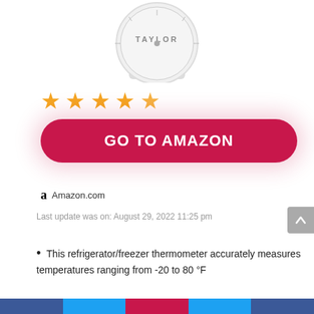[Figure (photo): Partial image of a round Taylor refrigerator/freezer thermometer, showing the top portion with the dial face and base.]
[Figure (other): 4 orange/gold star rating icons]
GO TO AMAZON
Amazon.com
Last update was on: August 29, 2022 11:25 pm
This refrigerator/freezer thermometer accurately measures temperatures ranging from -20 to 80 °F
Blue and yellow safe temperature zone indicators